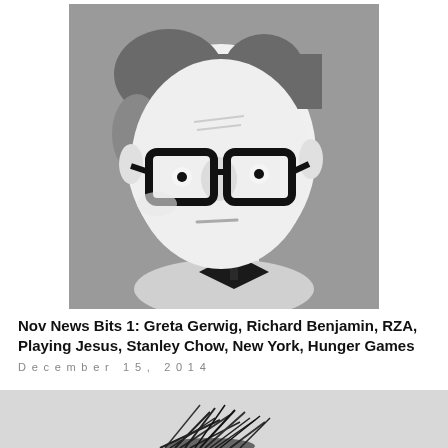[Figure (illustration): Stylized flat illustration portrait of a man with dark-rimmed glasses, wavy dark hair, large nose, and a black bow tie, rendered in grayscale on a gray background.]
Nov News Bits 1: Greta Gerwig, Richard Benjamin, RZA, Playing Jesus, Stanley Chow, New York, Hunger Games
December 15, 2014
[Figure (photo): Black and white photograph showing a dark tangle or bundle of twigs/sticks on a light gray background, partially visible at the bottom of the page.]